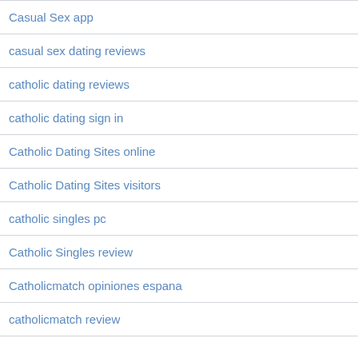Casual Sex app
casual sex dating reviews
catholic dating reviews
catholic dating sign in
Catholic Dating Sites online
Catholic Dating Sites visitors
catholic singles pc
Catholic Singles review
Catholicmatch opiniones espana
catholicmatch review